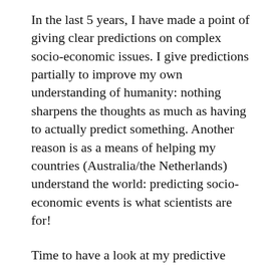In the last 5 years, I have made a point of giving clear predictions on complex socio-economic issues. I give predictions partially to improve my own understanding of humanity: nothing sharpens the thoughts as much as having to actually predict something. Another reason is as a means of helping my countries (Australia/the Netherlands) understand the world: predicting socio-economic events is what scientists are for!
Time to have a look at my predictive successes and failures over the last few years, as well as the outstanding predictions yet to be decided. Let us start with what I consider my main failure.